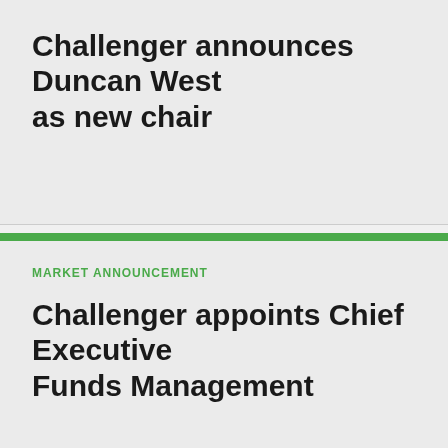Challenger announces Duncan West as new chair
MARKET ANNOUNCEMENT
Challenger appoints Chief Executive Funds Management